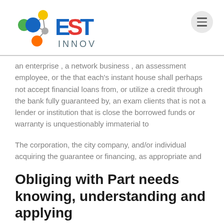EST INNOV
an enterprise , a network business , an assessment employee, or the that each's instant house shall perhaps not accept financial loans from, or utilize a credit through the bank fully guaranteed by, an exam clients that is not a lender or institution that is close the borrowed funds or warranty is unquestionably immaterial to
The corporation, the city company, and/or individual acquiring the guarantee or financing, as appropriate and
Obliging with Part needs knowing, understanding and applying